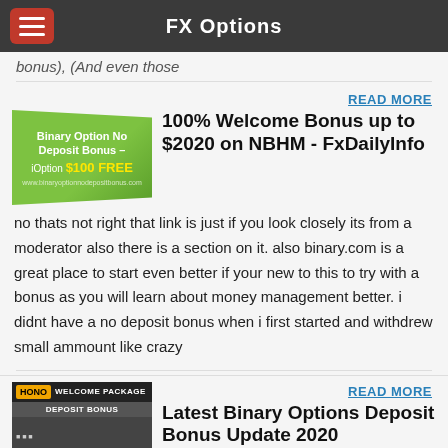FX Options
bonus), (And even those
READ MORE
[Figure (illustration): Green banner image for Binary Option No Deposit Bonus – iOption $100 FREE]
100% Welcome Bonus up to $2020 on NBHM - FxDailyInfo
no thats not right that link is just if you look closely its from a moderator also there is a section on it. also binary.com is a great place to start even better if your new to this to try with a bonus as you will learn about money management better. i didnt have a no deposit bonus when i first started and withdrew small ammount like crazy
READ MORE
[Figure (screenshot): Welcome Package Deposit Bonus promotional banner image]
Latest Binary Options Deposit Bonus Update 2020
2019/11/20 : Earn $200 with Binary Options Free No Deposit Bonus